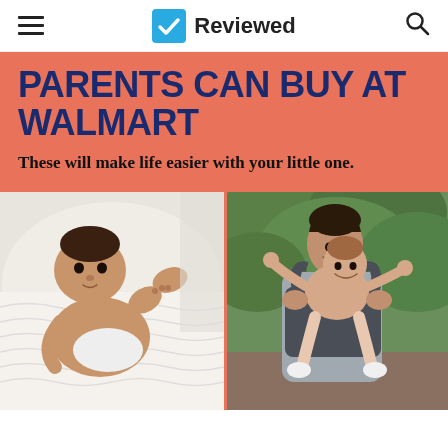Reviewed
PARENTS CAN BUY AT WALMART
These will make life easier with your little one.
[Figure (photo): Baby lying on white bedding, looking at camera, holding feet]
[Figure (photo): Father carrying a happy toddler in a gray baby carrier outdoors in a green setting]